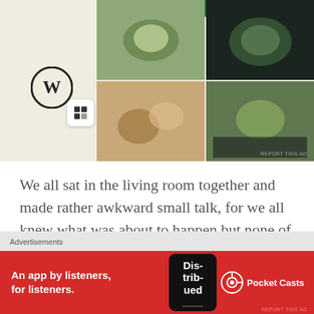[Figure (screenshot): WordPress website builder advertisement showing WordPress logo, a small square icon, and food photography app screenshots on a beige background with a green button at top]
We all sat in the living room together and made rather awkward small talk, for we all knew what was about to happen but none of us seemed to know how to commence that side of events. The catalyst came in a simple question posed to the Bull by the Stag. “Have you seen her trousers, would you like to touch them?” Having essentially been given the green light, he tentatively reached over and placed his hand upon my crossed leg.
Advertisements
[Figure (screenshot): Pocket Casts advertisement: red banner with white text 'An app by listeners, for listeners.' with phone image and Pocket Casts logo]